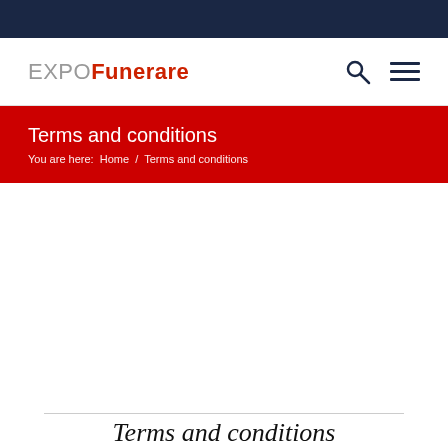EXPO Funerare
Terms and conditions
You are here:  Home  /  Terms and conditions
Terms and conditions